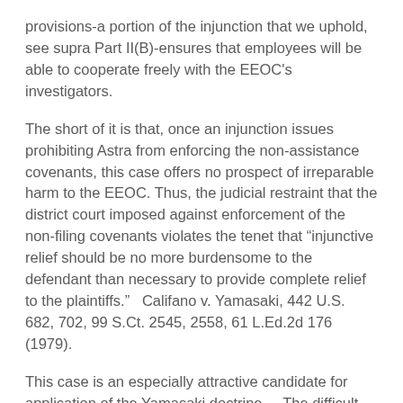provisions-a portion of the injunction that we uphold, see supra Part II(B)-ensures that employees will be able to cooperate freely with the EEOC's investigators.
The short of it is that, once an injunction issues prohibiting Astra from enforcing the non-assistance covenants, this case offers no prospect of irreparable harm to the EEOC. Thus, the judicial restraint that the district court imposed against enforcement of the non-filing covenants violates the tenet that “injunctive relief should be no more burdensome to the defendant than necessary to provide complete relief to the plaintiffs.”   Califano v. Yamasaki, 442 U.S. 682, 702, 99 S.Ct. 2545, 2558, 61 L.Ed.2d 176 (1979).
This case is an especially attractive candidate for application of the Yamasaki doctrine.    The difficult, highly ramified questions that surround the validity of non-filing covenants counsel persuasively against reaching out past